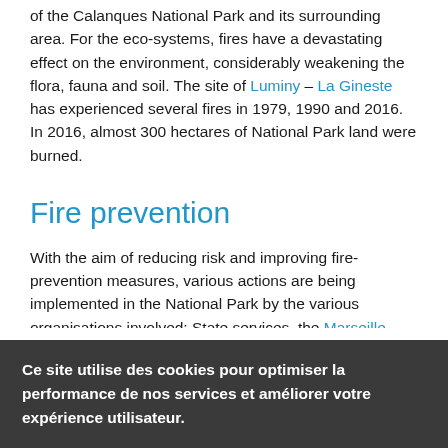of the Calanques National Park and its surrounding area. For the eco-systems, fires have a devastating effect on the environment, considerably weakening the flora, fauna and soil. The site of Luminy – La Gineste has experienced several fires in 1979, 1990 and 2016. In 2016, almost 300 hectares of National Park land were burned.
Fire prevention
With the aim of reducing risk and improving fire-prevention measures, various actions are being implemented in the National Park by the various organisations involved: State services, the Marseille Marine Fire Brigade (BMPM), the Departmental Fire and Rescue Service (SDIS 13), the National Forestry Offiice (ONF), the Bouches-du-Rhône department and the communes of Marseille, Cassis and La Ciotat, Communal Forest Fire Committees and the Communal Civil Security Reserves. These partners manage
Ce site utilise des cookies pour optimiser la performance de nos services et améliorer votre expérience utilisateur.